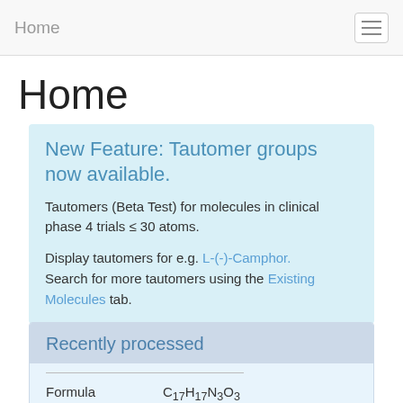Home
Home
New Feature: Tautomer groups now available.
Tautomers (Beta Test) for molecules in clinical phase 4 trials ≤ 30 atoms.
Display tautomers for e.g. L-(-)-Camphor. Search for more tautomers using the Existing Molecules tab.
Recently processed
| Formula |  |
| --- | --- |
| Formula | C17H17N3O3 |